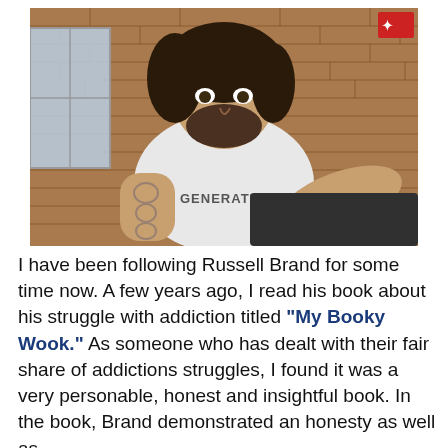[Figure (photo): A man with long curly dark hair and a beard, wearing a white sleeveless shirt reading 'GENERATION', with tattoos visible on his arms, sitting in front of a brick wall background.]
I have been following Russell Brand for some time now. A few years ago, I read his book about his struggle with addiction titled “My Booky Wook.” As someone who has dealt with their fair share of addictions struggles, I found it was a very personable, honest and insightful book. In the book, Brand demonstrated an honesty as well as